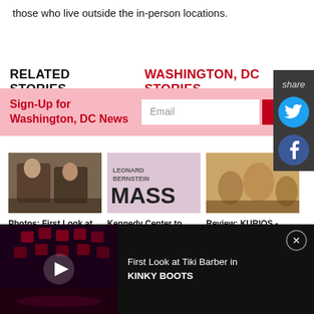those who live outside the in-person locations.
RELATED STORIES     WASHINGTON, DC STORIES
Sign-Up for Washington, DC News
[Figure (photo): Photo of two men in suits seated, from THE OUTSIDER play]
Photos: First Look at THE OUTSIDER at The Keegan
[Figure (photo): MASS poster/logo by Leonard Bernstein]
Kennedy Center to Present Bernstein's MASS
[Figure (photo): Review photo of KURIOS - Cirque du Soleil's CABINET OF]
Review: KURIOS - Cirque du Soleil's CABINET OF
[Figure (photo): Video thumbnail: First Look at Tiki Barber in KINKY BOOTS, dark stage with red lights]
First Look at Tiki Barber in KINKY BOOTS